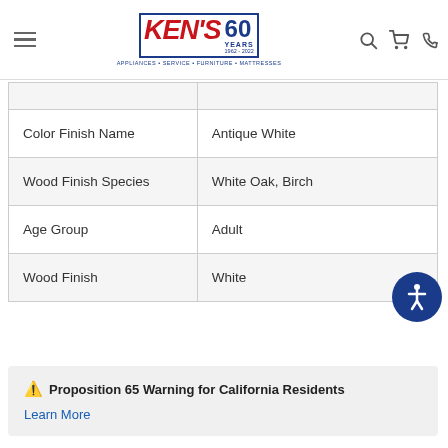Ken's Appliances Service Furniture Mattresses - 60 Years 1962-2022
| Color Finish Name | Antique White |
| Wood Finish Species | White Oak, Birch |
| Age Group | Adult |
| Wood Finish | White |
⚠ Proposition 65 Warning for California Residents
Learn More